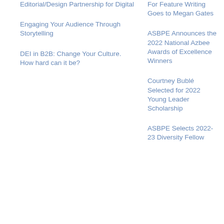Editorial/Design Partnership for Digital
Engaging Your Audience Through Storytelling
DEI in B2B: Change Your Culture. How hard can it be?
For Feature Writing Goes to Megan Gates
ASBPE Announces the 2022 National Azbee Awards of Excellence Winners
Courtney Bublé Selected for 2022 Young Leader Scholarship
ASBPE Selects 2022-23 Diversity Fellow